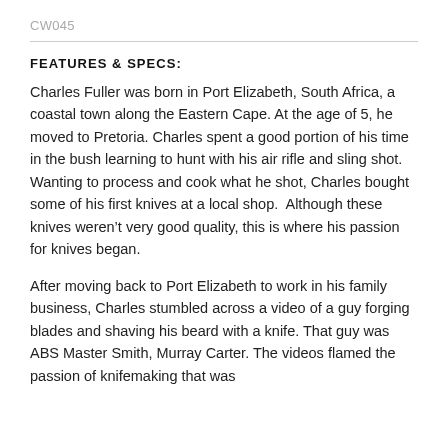CW045
FEATURES & SPECS:
Charles Fuller was born in Port Elizabeth, South Africa, a coastal town along the Eastern Cape. At the age of 5, he moved to Pretoria. Charles spent a good portion of his time in the bush learning to hunt with his air rifle and sling shot. Wanting to process and cook what he shot, Charles bought some of his first knives at a local shop.  Although these knives weren't very good quality, this is where his passion for knives began.
After moving back to Port Elizabeth to work in his family business, Charles stumbled across a video of a guy forging blades and shaving his beard with a knife. That guy was ABS Master Smith, Murray Carter. The videos flamed the passion of knifemaking that was…